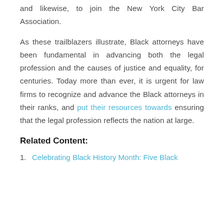and likewise, to join the New York City Bar Association.
As these trailblazers illustrate, Black attorneys have been fundamental in advancing both the legal profession and the causes of justice and equality, for centuries. Today more than ever, it is urgent for law firms to recognize and advance the Black attorneys in their ranks, and put their resources towards ensuring that the legal profession reflects the nation at large.
Related Content:
1. Celebrating Black History Month: Five Black